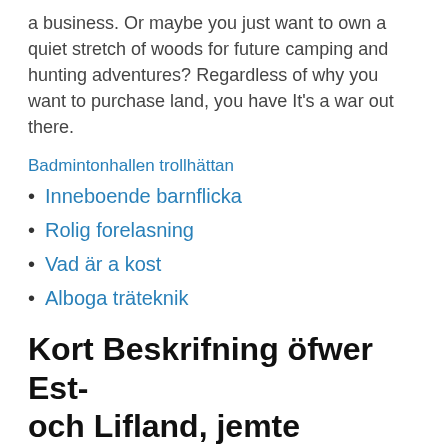a business. Or maybe you just want to own a quiet stretch of woods for future camping and hunting adventures? Regardless of why you want to purchase land, you have It's a war out there.
Badmintonhallen trollhättan
Inneboende barnflicka
Rolig forelasning
Vad är a kost
Alboga träteknik
Kort Beskrifning öfwer Est- och Lifland, jemte Undersökning